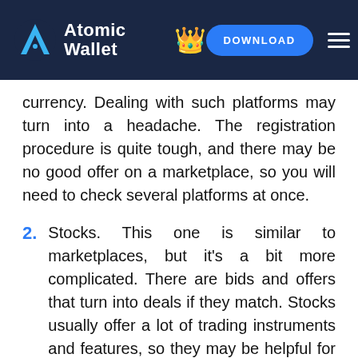Atomic Wallet | DOWNLOAD
currency. Dealing with such platforms may turn into a headache. The registration procedure is quite tough, and there may be no good offer on a marketplace, so you will need to check several platforms at once.
2. Stocks. This one is similar to marketplaces, but it's a bit more complicated. There are bids and offers that turn into deals if they match. Stocks usually offer a lot of trading instruments and features, so they may be helpful for professionals. But it's even harder to interact with stocks than with marketplaces. The